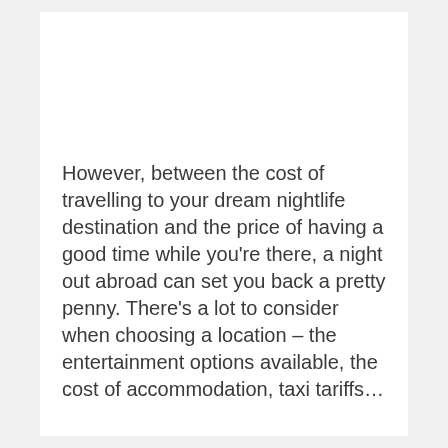However, between the cost of travelling to your dream nightlife destination and the price of having a good time while you're there, a night out abroad can set you back a pretty penny. There's a lot to consider when choosing a location – the entertainment options available, the cost of accommodation, taxi tariffs…
With this in mind, Merchant Machine has investigated the best cities for a night out by looking at a range of metrics across 37 cities. We analysed the number of entertainment activities